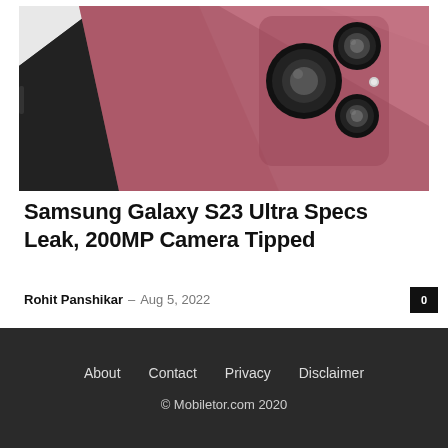[Figure (photo): Back view of Samsung Galaxy S23 Ultra smartphone in mauve/burgundy color showing quad-camera setup with large circular lenses, against a light gray background. A darker phone is partially visible beneath it.]
Samsung Galaxy S23 Ultra Specs Leak, 200MP Camera Tipped
Rohit Panshikar – Aug 5, 2022
About   Contact   Privacy   Disclaimer
© Mobiletor.com 2020